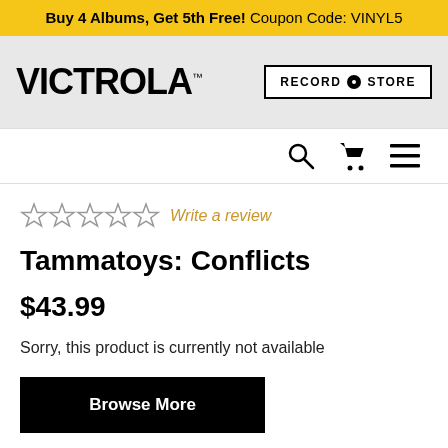Buy 4 Albums, Get 5th Free! Coupon Code: VINYL5
[Figure (logo): Victrola logo with Record Store button]
[Figure (infographic): Search, cart, and menu icons navigation bar]
Write a review
Tammatoys: Conflicts
$43.99
Sorry, this product is currently not available
Browse More